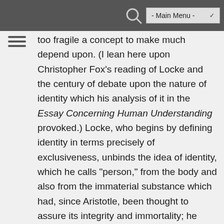- Main Menu -
too fragile a concept to make much depend upon. (I lean here upon Christopher Fox's reading of Locke and the century of debate upon the nature of identity which his analysis of it in the Essay Concerning Human Understanding provoked.) Locke, who begins by defining identity in terms precisely of exclusiveness, unbinds the idea of identity, which he calls "person," from the body and also from the immaterial substance which had, since Aristotle, been thought to assure its integrity and immortality; he distinguishes, that is, among three terms that had been thought for all earthly purposes indistinguishable: person (identity), man (individual body), and substance (presumably soul). Once these three are unbound from one another, one could no